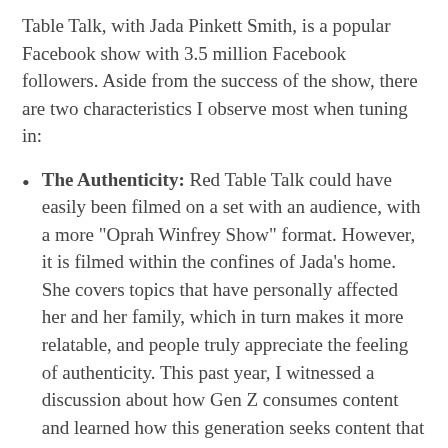Table Talk, with Jada Pinkett Smith, is a popular Facebook show with 3.5 million Facebook followers. Aside from the success of the show, there are two characteristics I observe most when tuning in:
The Authenticity: Red Table Talk could have easily been filmed on a set with an audience, with a more “Oprah Winfrey Show” format. However, it is filmed within the confines of Jada’s home. She covers topics that have personally affected her and her family, which in turn makes it more relatable, and people truly appreciate the feeling of authenticity. This past year, I witnessed a discussion about how Gen Z consumes content and learned how this generation seeks content that is genuine and not overly produced; they actually want content they can believe in.
The Mystery: Jada seamlessly provides short glimpses into her life through meaningful in